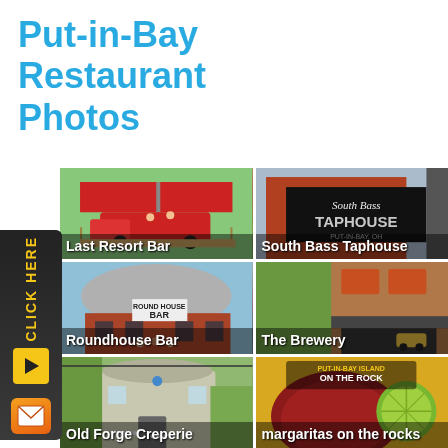Put-in-Bay Restaurant Photos
[Figure (photo): Grid of 6 restaurant photos: Last Resort Bar, South Bass Taphouse, Roundhouse Bar, The Brewery, Old Forge Creperie, margaritas on the rocks. Sidebar with CLICK HERE button and email icon.]